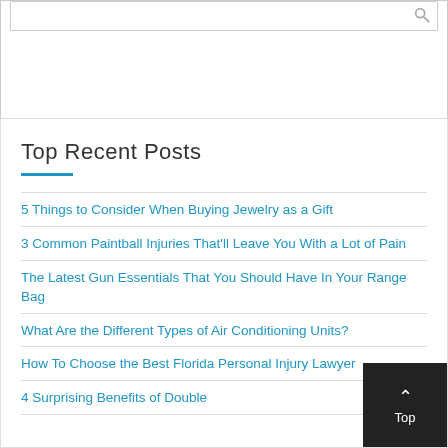Top Recent Posts
5 Things to Consider When Buying Jewelry as a Gift
3 Common Paintball Injuries That'll Leave You With a Lot of Pain
The Latest Gun Essentials That You Should Have In Your Range Bag
What Are the Different Types of Air Conditioning Units?
How To Choose the Best Florida Personal Injury Lawyer
4 Surprising Benefits of Double